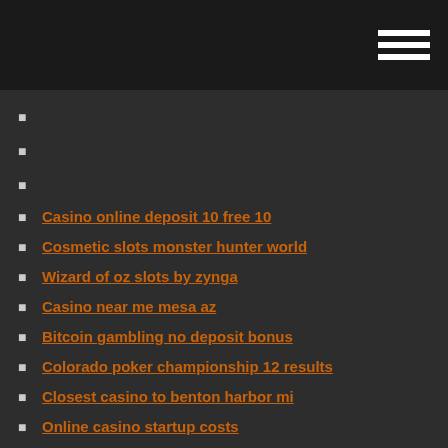Casino online deposit 10 free 10
Cosmetic slots monster hunter world
Wizard of oz slots by zynga
Casino near me mesa az
Bitcoin gambling no deposit bonus
Colorado poker championship 12 results
Closest casino to benton harbor mi
Online casino startup costs
Casino codes for free money 2019
Trucos para el black jack
Expected value of poker hands